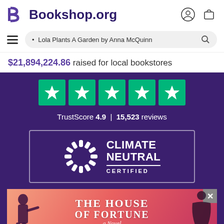Bookshop.org
• Lola Plants A Garden by Anna McQuinn
$21,894,224.86 raised for local bookstores
[Figure (other): Trustpilot five green star rating boxes with white stars]
TrustScore 4.9 | 15,523 reviews
[Figure (logo): Climate Neutral Certified badge with sun logo]
[Figure (other): Book advertisement: The House of Fortune, a Novel by Jessie Burton with coral/pink gradient background and silhouette figures]